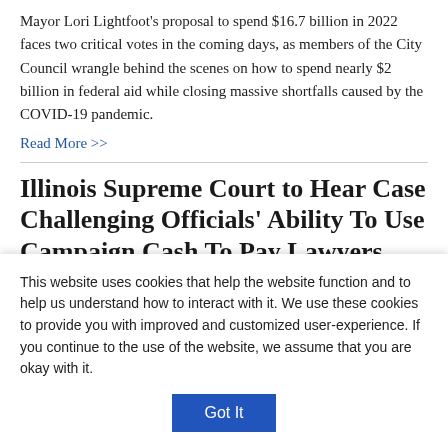Mayor Lori Lightfoot's proposal to spend $16.7 billion in 2022 faces two critical votes in the coming days, as members of the City Council wrangle behind the scenes on how to spend nearly $2 billion in federal aid while closing massive shortfalls caused by the COVID-19 pandemic.
Read More >>
Illinois Supreme Court to Hear Case Challenging Officials' Ability To Use Campaign Cash To Pay Lawyers
Sep 29, 2021 | Heather Cherone
[Figure (photo): Partially visible blurred photograph at the bottom of the article preview]
This website uses cookies that help the website function and to help us understand how to interact with it. We use these cookies to provide you with improved and customized user-experience. If you continue to the use of the website, we assume that you are okay with it.
Got It